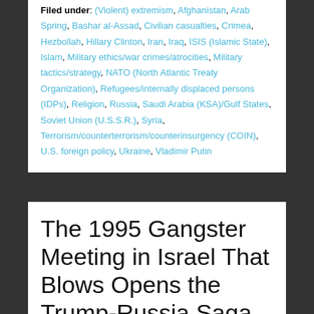Filed under: (Violent) extremism, Afghanistan, Arab Spring, Bashar al-Assad, Civilian casualties, Crimea, Hezbollah, Hillary Clinton, Iran, Iraq, ISIS (Islamic State), Islam, Military ethics/war crimes/atrocities, Military tactics/strategy, NATO (North Atlantic Treaty Organization), Refugees/internally displaced persons (IDPs), Religion, Russia, Saudi Arabia (KSA)/Gulf States, Soviet Union (U.S.S.R.), Syria, Terrorism/counterterrorism/counterinsurgency (COIN), U.S. foreign policy, Ukraine, Vladimir Putin
The 1995 Gangster Meeting in Israel That Blows Opens the Trump-Russia Saga